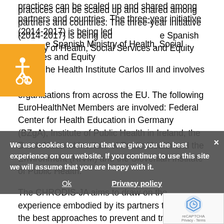practices can be scaled up and shared among partners and countries. The three-year initiative (2014-2017) is being led by the Spanish Ministry of Health, Social Services and Equity and the Health Institute Carlos III and involves 60 organisations from across the EU. The following EuroHealthNet Members are involved: Federal Center for Health Education in Germany (BZgA), Institute of Public Health in Ireland, the Dutch National Institute of Public Health and the Environment (RIVM) and the Slovenian Institute of Public Health.
[Figure (illustration): Orange square with wheelchair accessibility icon (white)]
The CHRODIS-JA aims to draw on the experience embodied by its partners to identify the best approaches to prevent and treat chronic disease, such as type-2 diabetes. Since many patients with chronic diseases suffer from multiple conditions, it will also provide more holistic rather than disease-specific care paths. The CHROD aims to develop a sustainable EU-level knowledge pl to serve as a resource for those in EU Member States...
We use cookies to ensure that we give you the best experience on our website. If you continue to use this site we will assume that you are happy with it.
Ok    Privacy policy